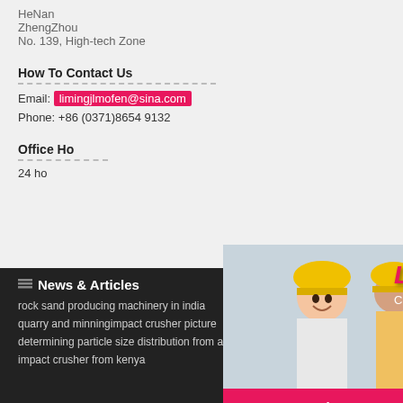HeNan
ZhengZhou
No. 139, High-tech Zone
How To Contact Us
Email: limingjlmofen@sina.com
Phone: +86 (0371)8654 9132
Office Hours
24 ho...
[Figure (photo): Live chat popup with workers in hard hats and LIVE CHAT text overlay, Chat now and Chat later buttons]
[Figure (photo): Right sidebar showing orange background with mining equipment images, Enjoy 3% discount, Click to Chat, Enquiry, limingjlmofen@sina.com]
News & Articles
rock sand producing machinery in india
quarry and minningimpact crusher picture
determining particle size distribution from a ba...
impact crusher from kenya